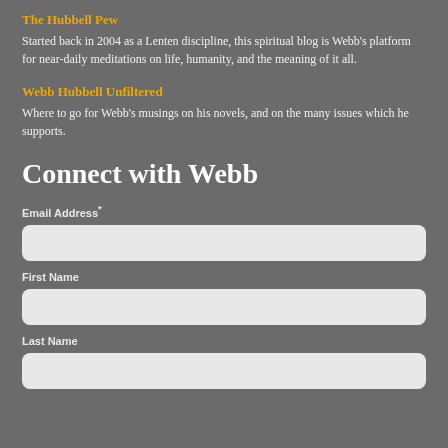The Hubbell Pew
Started back in 2004 as a Lenten discipline, this spiritual blog is Webb's platform for near-daily meditations on life, humanity, and the meaning of it all.
Webb Hubbell Unfiltered
Where to go for Webb's musings on his novels, and on the many issues which he supports.
Connect with Webb
Email Address*
First Name
Last Name